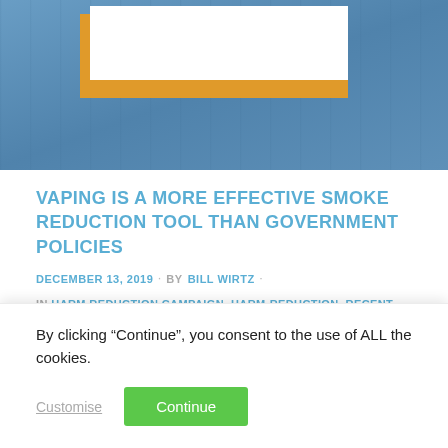[Figure (photo): Hero banner image with blue tinted background and a white card/box element with orange border visible at top of page]
VAPING IS A MORE EFFECTIVE SMOKE REDUCTION TOOL THAN GOVERNMENT POLICIES
DECEMBER 13, 2019 · BY BILL WIRTZ ·
IN HARM REDUCTION CAMPAIGN, HARM-REDUCTION, RECENT MEDIA, VAPING ·
0 COMMENTS
By clicking “Continue”, you consent to the use of ALL the cookies.